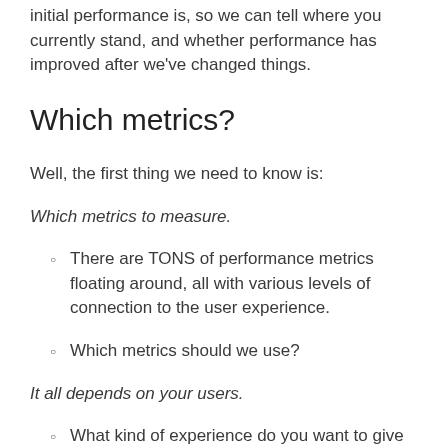initial performance is, so we can tell where you currently stand, and whether performance has improved after we've changed things.
Which metrics?
Well, the first thing we need to know is:
Which metrics to measure.
There are TONS of performance metrics floating around, all with various levels of connection to the user experience.
Which metrics should we use?
It all depends on your users.
What kind of experience do you want to give